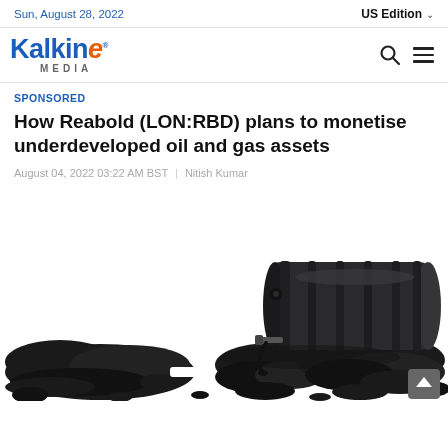Sun, August 28, 2022 | US Edition
[Figure (logo): Kalkine Media logo — stylized blue text 'Kalkine' with orange italic 'e', and 'MEDIA' in grey below]
SPONSORED
How Reabold (LON:RBD) plans to monetise underdeveloped oil and gas assets
August 04, 2022 03:22 AM BST | Nitish Kumar
[Figure (photo): A dark grey/black oil drum lying on its side on top of a monochrome world map rendered in black liquid/oil, suggesting oil spill across the globe. White background.]